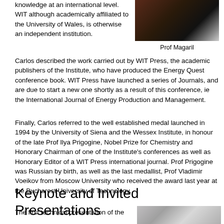knowledge at an international level. WIT although academically affiliated to the University of Wales, is otherwise an independent institution.
[Figure (photo): Portrait photo of Prof Magaril, dark tones with partial figure visible]
Prof Magaril
Carlos described the work carried out by WIT Press, the academic publishers of the Institute, who have produced the Energy Quest conference book. WIT Press have launched a series of Journals, and are due to start a new one shortly as a result of this conference, ie the International Journal of Energy Production and Management.
Finally, Carlos referred to the well established medal launched in 1994 by the University of Siena and the Wessex Institute, in honour of the late Prof Ilya Prigogine, Nobel Prize for Chemistry and Honorary Chairman of one of the Institute's conferences as well as Honorary Editor of a WIT Press international journal. Prof Prigogine was Russian by birth, as well as the last medallist, Prof Vladimir Voeikov from Moscow University who received the award last year at the Bucharest University of Technology.
Keynote and Invited Presentations
The first technical presentation of the
[Figure (photo): Photo showing architectural detail, light gray tones]